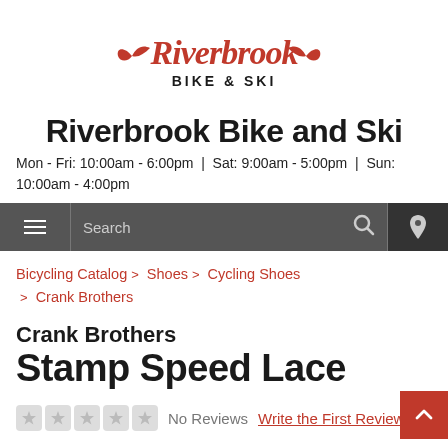[Figure (logo): Riverbrook Bike & Ski logo — red cursive 'Riverbrook' text with wing graphic, black 'BIKE & SKI' below]
Riverbrook Bike and Ski
Mon - Fri: 10:00am - 6:00pm | Sat: 9:00am - 5:00pm | Sun: 10:00am - 4:00pm
[Figure (screenshot): Navigation bar with hamburger menu, Search field with magnifying glass icon, and location pin icon]
Bicycling Catalog > Shoes > Cycling Shoes > Crank Brothers
Crank Brothers
Stamp Speed Lace
No Reviews  Write the First Review